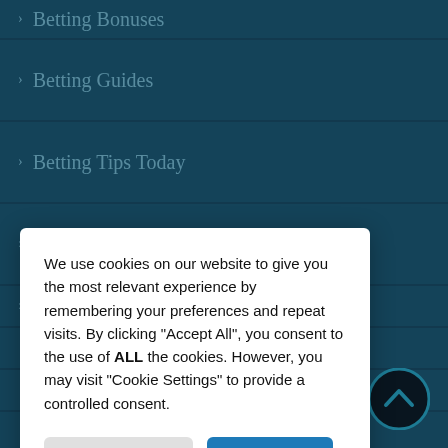› Betting Bonuses
› Betting Guides
› Betting Tips Today
› Secret Tipster
› Top Casino Sites
We use cookies on our website to give you the most relevant experience by remembering your preferences and repeat visits. By clicking "Accept All", you consent to the use of ALL the cookies. However, you may visit "Cookie Settings" to provide a controlled consent.
[Figure (screenshot): Cookie consent modal dialog with Cookie Settings and Accept All buttons overlaid on a navigation menu]